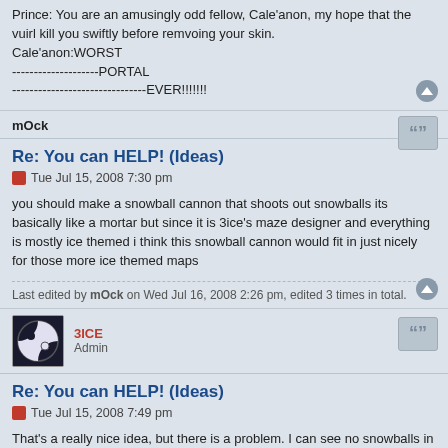Prince: You are an amusingly odd fellow, Cale'anon, my hope that the vuirl kill you swiftly before remvoing your skin.
Cale'anon:WORST
--------------------PORTAL
-------------------------------EVER!!!!!!!
mOck
Re: You can HELP! (Ideas)
Tue Jul 15, 2008 7:30 pm
you should make a snowball cannon that shoots out snowballs its basically like a mortar but since it is 3ice's maze designer and everything is mostly ice themed i think this snowball cannon would fit in just nicely for those more ice themed maps
Last edited by mOck on Wed Jul 16, 2008 2:26 pm, edited 3 times in total.
3ICE
Admin
Re: You can HELP! (Ideas)
Tue Jul 15, 2008 7:49 pm
That's a really nice idea, but there is a problem. I can see no snowballs in